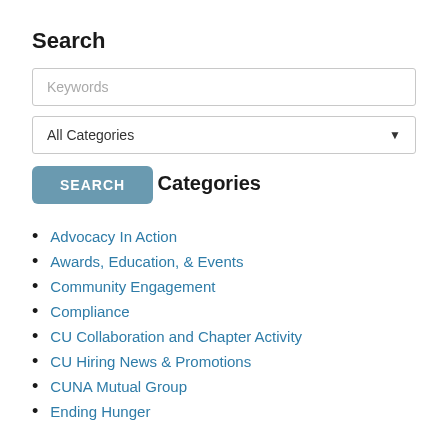Search
Keywords
All Categories
SEARCH
Categories
Advocacy In Action
Awards, Education, & Events
Community Engagement
Compliance
CU Collaboration and Chapter Activity
CU Hiring News & Promotions
CUNA Mutual Group
Ending Hunger